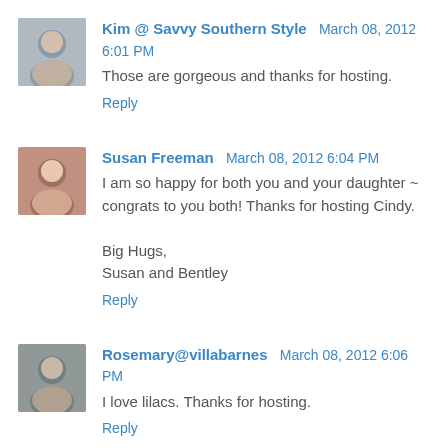[Figure (photo): Avatar photo of Kim]
Kim @ Savvy Southern Style March 08, 2012 6:01 PM
Those are gorgeous and thanks for hosting.
Reply
[Figure (photo): Avatar photo of Susan Freeman]
Susan Freeman March 08, 2012 6:04 PM
I am so happy for both you and your daughter ~ congrats to you both! Thanks for hosting Cindy.

Big Hugs,
Susan and Bentley
Reply
[Figure (photo): Avatar photo of Rosemary]
Rosemary@villabarnes March 08, 2012 6:06 PM
I love lilacs. Thanks for hosting.
Reply